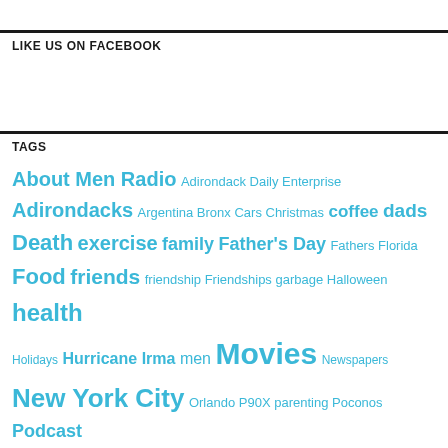LIKE US ON FACEBOOK
TAGS
About Men Radio Adirondack Daily Enterprise Adirondacks Argentina Bronx Cars Christmas coffee dads Death exercise family Father's Day Fathers Florida Food friends friendship Friendships garbage Halloween health Holidays Hurricane Irma men Movies Newspapers New York City Orlando P90X parenting Poconos Podcast